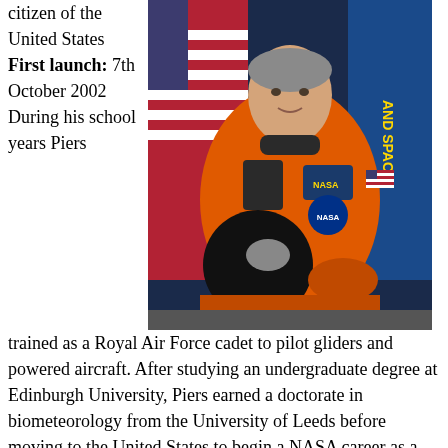citizen of the United States
First launch: 7th October 2002
During his school years Piers
[Figure (photo): Astronaut in orange NASA spacesuit holding helmet, posing in front of American flag and NASA banner]
trained as a Royal Air Force cadet to pilot gliders and powered aircraft. After studying an undergraduate degree at Edinburgh University, Piers earned a doctorate in biometeorology from the University of Leeds before moving to the United States to begin a NASA career as a research meteorologist. In 1984 he began applying to become